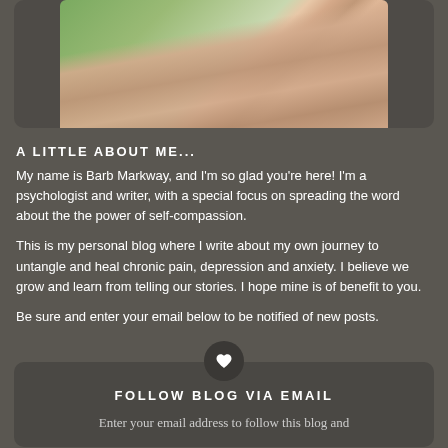[Figure (photo): Partial photo showing crossed arms of a person, with a blurred green background. Only the lower portion of the image is visible, showing arms and hands.]
A LITTLE ABOUT ME...
My name is Barb Markway, and I'm so glad you're here! I'm a psychologist and writer, with a special focus on spreading the word about the the power of self-compassion.
This is my personal blog where I write about my own journey to untangle and heal chronic pain, depression and anxiety. I believe we grow and learn from telling our stories. I hope mine is of benefit to you.
Be sure and enter your email below to be notified of new posts.
FOLLOW BLOG VIA EMAIL
Enter your email address to follow this blog and receive notifications of new posts by email.